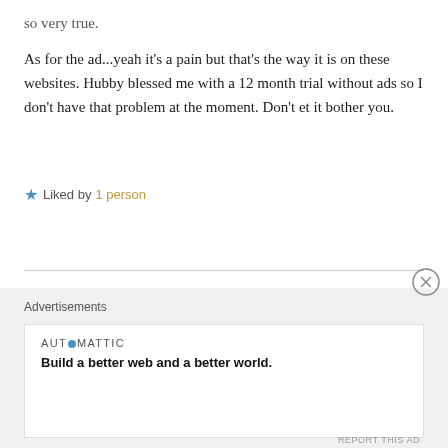so very true.
As for the ad...yeah it's a pain but that's the way it is on these websites. Hubby blessed me with a 12 month trial without ads so I don't have that problem at the moment. Don't et it bother you.
★ Liked by 1 person
REPLY
Leave a Reply
Advertisements
AUTOMATTIC
Build a better web and a better world.